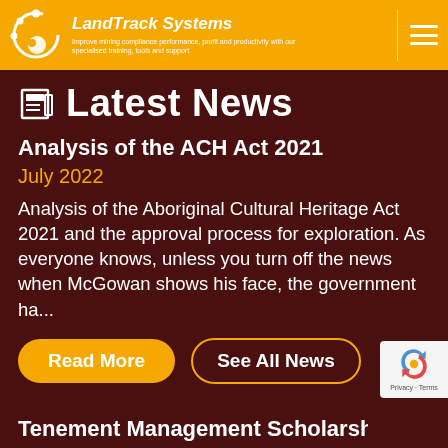LandTrack Systems - Improve mining compliance performance, profit and productivity with our specialised training, tools and support
Latest News
Analysis of the ACH Act 2021
July 2022
Analysis of the Aboriginal Cultural Heritage Act 2021 and the approval process for exploration. As everyone knows, unless you turn off the news when McGowan shows his face, the government ha...
Read More
See All News
Tenement Management Scholarship 2022